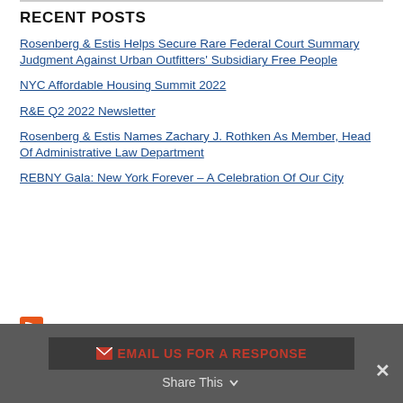RECENT POSTS
Rosenberg & Estis Helps Secure Rare Federal Court Summary Judgment Against Urban Outfitters' Subsidiary Free People
NYC Affordable Housing Summit 2022
R&E Q2 2022 Newsletter
Rosenberg & Estis Names Zachary J. Rothken As Member, Head Of Administrative Law Department
REBNY Gala: New York Forever – A Celebration Of Our City
Subscribe To This Blog's Feed
EMAIL US FOR A RESPONSE  Share This  ✕